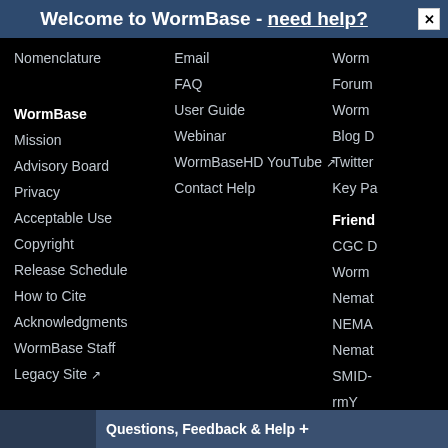Welcome to WormBase - need help?
Nomenclature
WormBase
Mission
Advisory Board
Privacy
Acceptable Use
Copyright
Release Schedule
How to Cite
Acknowledgments
WormBase Staff
Legacy Site [↗]
Email
FAQ
User Guide
Webinar
WormBaseHD YouTube [↗]
Contact Help
Worm...
Forum...
Worm...
Blog D...
Twitter...
Key Pa...
Friends...
CGC D...
Worm...
Nemat...
NEMA...
Nemat...
SMID-...
rmY...
Questions, Feedback & Help +